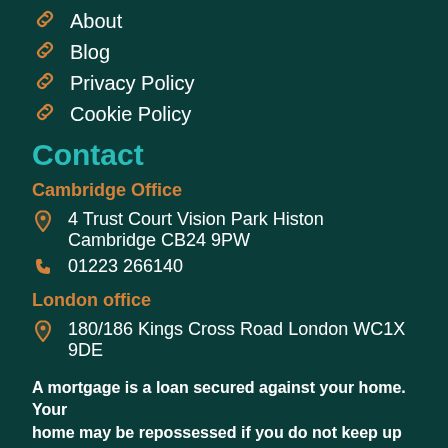About
Blog
Privacy Policy
Cookie Policy
Contact
Cambridge Office
4 Trust Court Vision Park Histon Cambridge CB24 9PW
01223 266140
London office
180/186 Kings Cross Road London WC1X 9DE
01223 266140
A mortgage is a loan secured against your home. Your home may be repossessed if you do not keep up